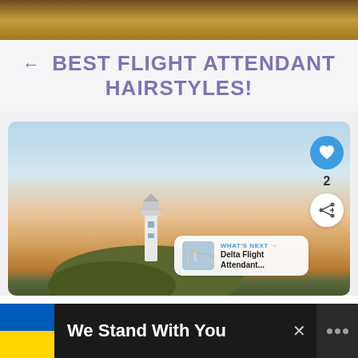[Figure (photo): Top partial image with brown/gold gradient background, cropped]
← BEST FLIGHT ATTENDANT HAIRSTYLES!
[Figure (photo): Scenic photo of a white lighthouse on a cliff at sunset with sky gradient; UI overlays include heart/like button (blue circle), like count '2', share button, and 'WHAT'S NEXT → Delta Flight Attendant...' preview card]
[Figure (other): Advertisement banner: Ukraine flag colors (blue and yellow), text 'We Stand With You', close button X, and logo with three dots on dark background]